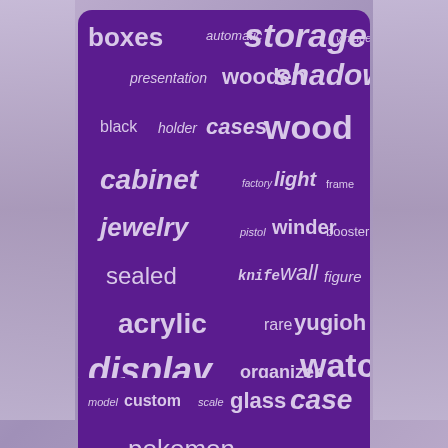[Figure (infographic): Word cloud on purple background with various storage/display related words in different sizes and weights. Words include: boxes, storage, automatic, vintage, presentation, wooden, shadow, black, holder, cases, wood, cabinet, factory, light, frame, jewelry, pistol, winder, booster, sealed, knife, wall, figure, acrylic, rare, yugioh, display, organizer, watch, model, custom, scale, glass, case, pokemon]
Home